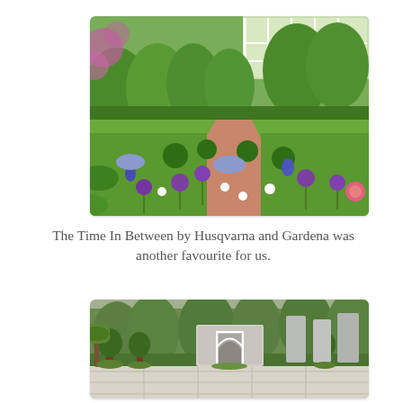[Figure (photo): A lush English cottage garden with colourful flowers including purple alliums, white blooms, irises, lavender and a greenhouse structure visible in the background surrounded by green hedges and trees.]
The Time In Between by Husqvarna and Gardena was another favourite for us.
[Figure (photo): A formal garden with pale stone paving, clipped topiary trees, tall stone/concrete monolith panels and a Moorish-style arched gateway structure with tall trees in the background.]